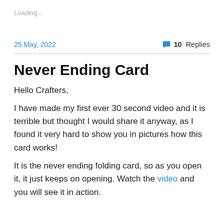Loading...
25 May, 2022
💬 10 Replies
Never Ending Card
Hello Crafters,
I have made my first ever 30 second video and it is terrible but thought I would share it anyway, as I found it very hard to show you in pictures how this card works!
It is the never ending folding card, so as you open it, it just keeps on opening. Watch the video and you will see it in action.